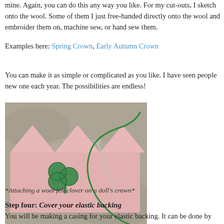mine. Again, you can do this any way you like. For my cut-outs, I sketch onto the wool. Some of them I just free-handed directly onto the wool and embroider them on, machine sew, or hand sew them.
Examples here: Spring Crown, Early Autumn Crown
You can make it as simple or complicated as you like. I have seen people new one each year. The possibilities are endless!
[Figure (photo): A pink wool felt crown with zigzag points, a green felt clover/shamrock shape, and a needle with green thread being sewn through the crown, photographed on a stone surface.]
*Attaching a wool felt clover on a doll's crown*
Step four: Cover your elastic backing
You will be making a casing for your elastic backing. It can be done by crown, then try the crown on your child's head and measure where the